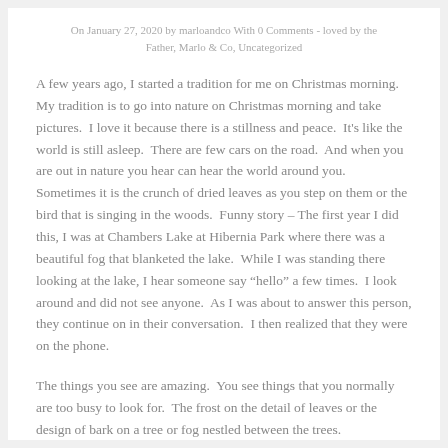On January 27, 2020 by marloandco With 0 Comments - loved by the Father, Marlo & Co, Uncategorized
A few years ago, I started a tradition for me on Christmas morning.  My tradition is to go into nature on Christmas morning and take pictures.  I love it because there is a stillness and peace.  It's like the world is still asleep.  There are few cars on the road.  And when you are out in nature you hear can hear the world around you.  Sometimes it is the crunch of dried leaves as you step on them or the bird that is singing in the woods.  Funny story – The first year I did this, I was at Chambers Lake at Hibernia Park where there was a beautiful fog that blanketed the lake.  While I was standing there looking at the lake, I hear someone say “hello” a few times.  I look around and did not see anyone.  As I was about to answer this person, they continue on in their conversation.  I then realized that they were on the phone.
The things you see are amazing.  You see things that you normally are too busy to look for.  The frost on the detail of leaves or the design of bark on a tree or fog nestled between the trees.